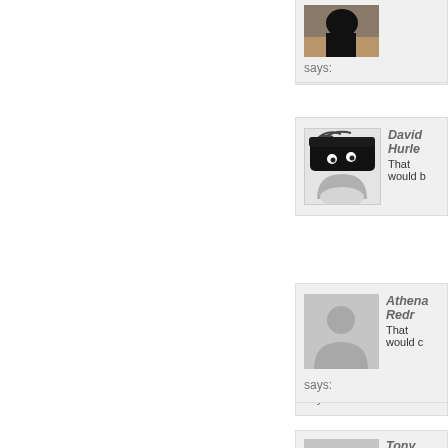[Figure (photo): Partial comment block at top with a photo of a person, partially visible]
says:
[Figure (illustration): Avatar illustration showing a dark stylized character with wavy hair]
David Hurle... That would b...
[Figure (photo): Default gray silhouette avatar placeholder]
Athena Redr... That would c...
says:
[Figure (photo): Default gray silhouette avatar placeholder]
Tony McGu... Scary if you ... Ha Ha!!! at B...
[Figure (photo): Partial comment block at bottom with a colorful avatar, partially visible]